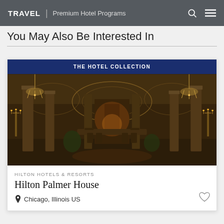TRAVEL | Premium Hotel Programs
You May Also Be Interested In
[Figure (photo): Hotel lobby interior of Hilton Palmer House in Chicago — ornate grand hall with gilded ceiling, large columns, chandeliers, and warm amber lighting]
THE HOTEL COLLECTION
HILTON HOTELS & RESORTS
Hilton Palmer House
Chicago, Illinois US